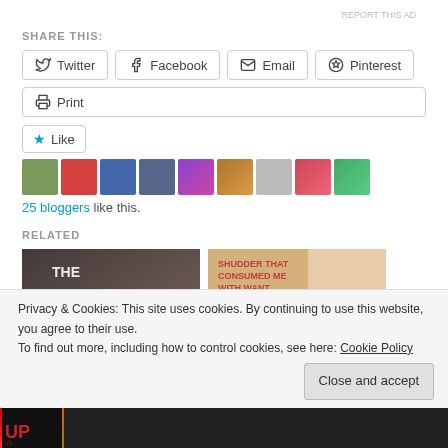REPORT THIS AD
SHARE THIS:
Twitter
Facebook
Email
Pinterest
Print
Like
25 bloggers like this.
RELATED
[Figure (photo): Book cover: The Antlers]
[Figure (photo): Book cover with text: SHUDDER THAT CONSUMED ME WITH WANT. THE WANT TO DESTROY. THE WANT TO KILL ALLURE]
Privacy & Cookies: This site uses cookies. By continuing to use this website, you agree to their use.
To find out more, including how to control cookies, see here: Cookie Policy
Close and accept